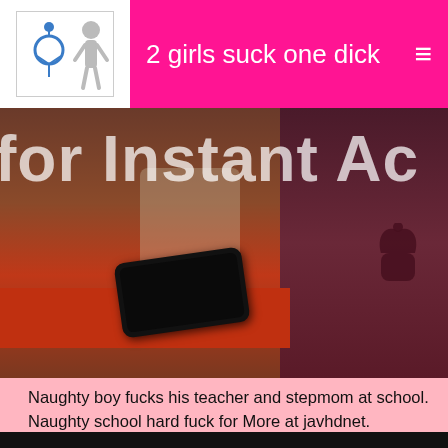2 girls suck one dick
[Figure (photo): A scene showing a person leaning over a red table with a smartphone on it, next to a dark monitor with an Apple logo. Overlaid text reads 'for Instant Ac' in large white semi-transparent letters.]
Naughty boy fucks his teacher and stepmom at school. Naughty school hard fuck for More at javhdnet.